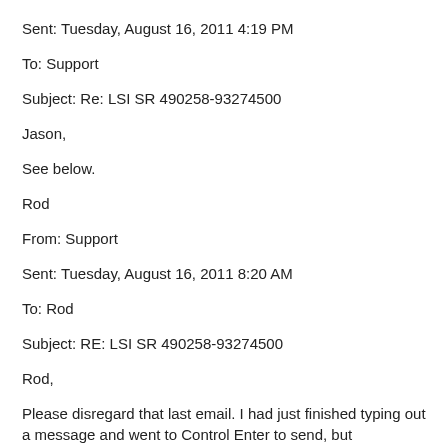Sent: Tuesday, August 16, 2011 4:19 PM
To: Support
Subject: Re: LSI SR 490258-93274500
Jason,
See below.
Rod
From: Support
Sent: Tuesday, August 16, 2011 8:20 AM
To: Rod
Subject: RE: LSI SR 490258-93274500
Rod,
Please disregard that last email. I had just finished typing out a message and went to Control Enter to send, but accidentally did Control V and pasted over my whole email. Oh well.